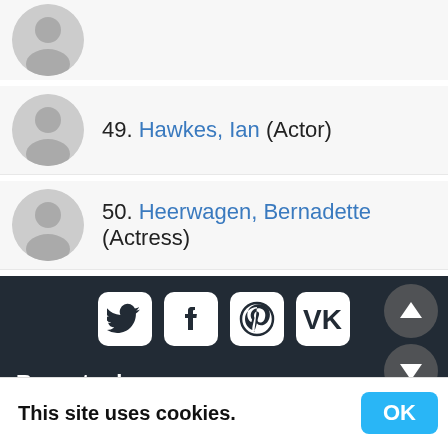(partial item at top — avatar only visible)
49. Hawkes, Ian (Actor)
50. Heerwagen, Bernadette (Actress)
[Figure (infographic): Social media share icons: Twitter, Facebook, Pinterest, VK]
Recent releases:
Action
Comedy
Horror
Crime
Family
This site uses cookies.